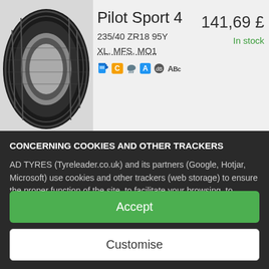[Figure (photo): Michelin Pilot Sport 4 tyre image showing tread pattern, dark background]
Pilot Sport 4
235/40 ZR18 95Y
XL, MFS, MO1
[Figure (other): EU tyre label icons: fuel efficiency C (orange), wet grip A (blue), noise rating, and ABc noise label]
141,69 £
In stock
CONCERNING COOKIES AND OTHER TRACKERS
AD TYRES (Tyreleader.co.uk) and its partners (Google, Hotjar, Microsoft) use cookies and other trackers (web storage) to ensure the proper function of the site, to facilitate your browsing, to perform statistical measurements and to personalise its advertising campaigns. Cookies and other trackers stored on your device may contain personal data. Furthermore, we do not deposit any cookies or other trackers without your voluntary and
Accept
Customise